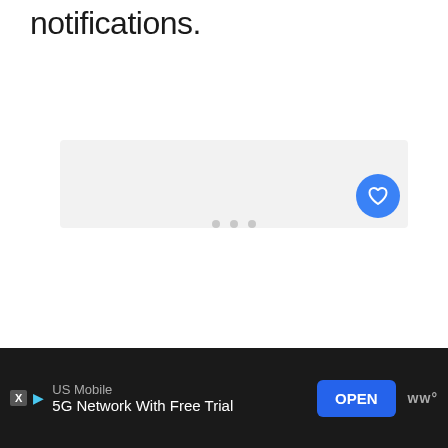notifications.
[Figure (other): A light gray loading/placeholder content box with three small gray dots in the center indicating loading state, and a blue circular heart/favorite button in the lower right corner.]
[Figure (other): Advertisement bar at bottom: dark background, 'US Mobile' brand, '5G Network With Free Trial' tagline, blue OPEN button, and a logo with 'ww°' text on far right. X and play arrow icons on left.]